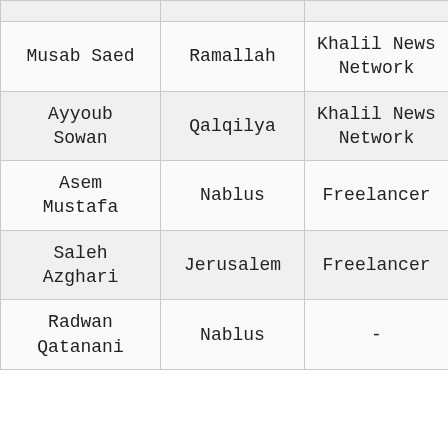|  |  |  |
| Musab Saed | Ramallah | Khalil News Network |
| Ayyoub Sowan | Qalqilya | Khalil News Network |
| Asem Mustafa | Nablus | Freelancer |
| Saleh Azghari | Jerusalem | Freelancer |
| Radwan Qatanani | Nablus | - |